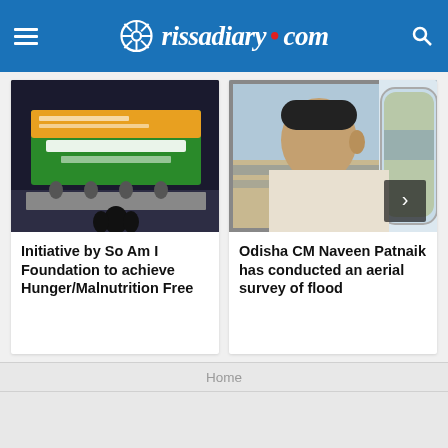orissadiary.com
[Figure (photo): Conference event with banner reading 'Food for All' on stage with panelists seated at table]
Initiative by So Am I Foundation to achieve Hunger/Malnutrition Free
[Figure (photo): Man looking out helicopter window at flooded landscape below]
Odisha CM Naveen Patnaik has conducted an aerial survey of flood
Home